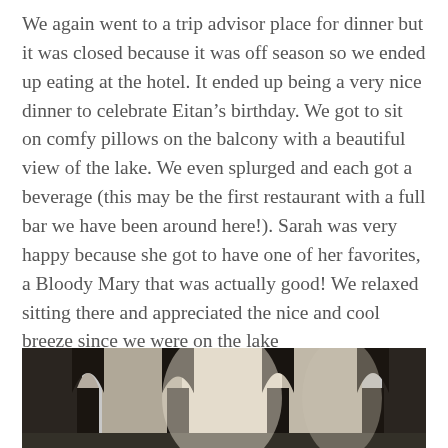We again went to a trip advisor place for dinner but it was closed because it was off season so we ended up eating at the hotel.  It ended up being a very nice dinner to celebrate Eitan’s birthday. We got to sit on comfy pillows on the balcony with a beautiful view of the lake. We even splurged and each got a beverage (this may be the first restaurant with a full bar we have been around here!).  Sarah was very happy because she got to have one of her favorites, a Bloody Mary that was actually good!  We relaxed sitting there and appreciated the nice and cool breeze since we were on the lake
[Figure (photo): Silhouette of ornate Moorish-style arched columns against a bright sky, viewed from a balcony or corridor, with a lake or open space visible in the background.]